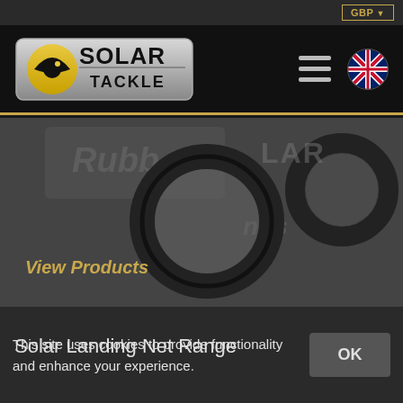GBP
[Figure (logo): Solar Tackle logo — yellow and black circular fish emblem with SOLAR TACKLE text]
[Figure (photo): Grayscale photo of rubber o-ring fishing accessories close-up with Solar branding visible in background]
View Products
Solar Landing Net Range
[Figure (photo): Grayscale photo of Solar Landing Net Range — landing net with mesh over water and trees in background]
This site uses cookies to provide functionality and enhance your experience.